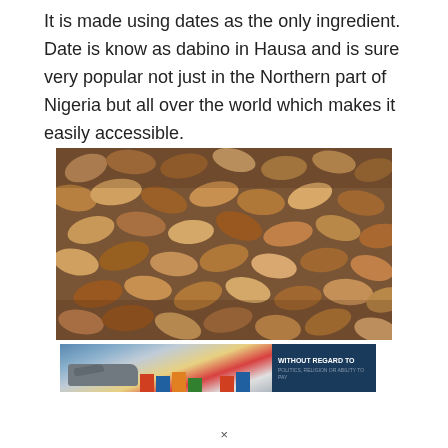It is made using dates as the only ingredient. Date is know as dabino in Hausa and is sure very popular not just in the Northern part of Nigeria but all over the world which makes it easily accessible.
[Figure (photo): A large pile of dried dates (dabino), brownish and oval-shaped, filling the entire frame of the photo.]
[Figure (photo): Advertisement banner showing a cargo airplane being loaded on an airport tarmac with colorful cargo, alongside a dark blue text panel reading 'WITHOUT REGARD TO POLITICS, RELIGION OR ABILITY TO PAY'.]